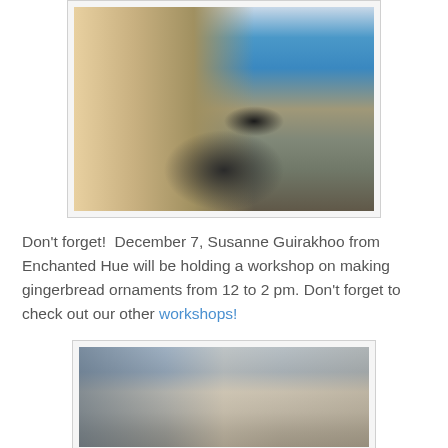[Figure (photo): Interior shop photo showing a display stand with cards/brochures on a blue tablecloth, with clothing items hanging in the background near a door.]
Don't forget!  December 7, Susanne Guirakhoo from Enchanted Hue will be holding a workshop on making gingerbread ornaments from 12 to 2 pm. Don't forget to check out our other workshops!
[Figure (photo): Interior shop photo showing colorful items and a window view.]